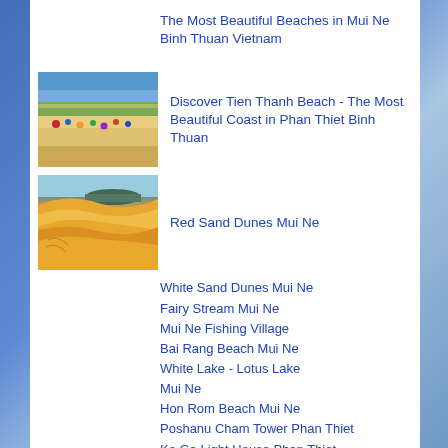The Most Beautiful Beaches in Mui Ne Binh Thuan Vietnam
[Figure (photo): Aerial view of a coastal beach with colorful umbrellas, green trees, and road along the coast, Tien Thanh Beach]
Discover Tien Thanh Beach - The Most Beautiful Coast in Phan Thiet Binh Thuan
[Figure (photo): Red sand dunes with a small mountain visible in the background, Mui Ne]
Red Sand Dunes Mui Ne
White Sand Dunes Mui Ne
Fairy Stream Mui Ne
Mui Ne Fishing Village
Bai Rang Beach Mui Ne
White Lake - Lotus Lake Mui Ne
Hon Rom Beach Mui Ne
Poshanu Cham Tower Phan Thiet
Ke Ga Light House Phan Thiet
Takeu Mountain Pagoda